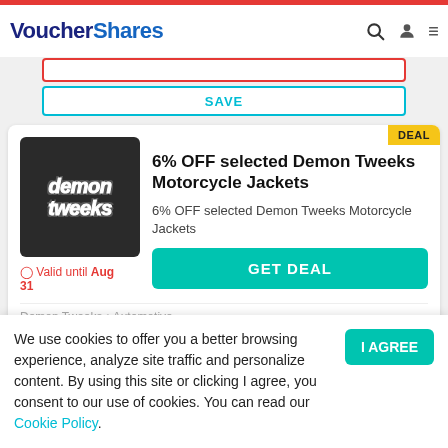VoucherShares
[Figure (logo): VoucherShares website header with logo and navigation icons]
SAVE
6% OFF selected Demon Tweeks Motorcycle Jackets
6% OFF selected Demon Tweeks Motorcycle Jackets
Valid until Aug 31
GET DEAL
Demon Tweeks • Automotive
We use cookies to offer you a better browsing experience, analyze site traffic and personalize content. By using this site or clicking I agree, you consent to our use of cookies. You can read our Cookie Policy.